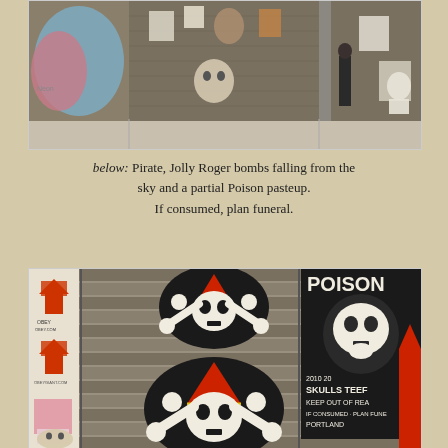[Figure (photo): Photo of a building exterior wall covered in graffiti murals, street art, stickers and paste-ups. A person stands near the wall. The wall features colorful wings mural on the left, various face/skull stickers and paste-ups across the center, and a figure in red on the right.]
below: Pirate, Jolly Roger bombs falling from the sky and a partial Poison pasteup. If consumed, plan funeral.
[Figure (photo): Close-up photo of a brick wall with street art. On the left is a pole covered in stickers including red arrow/obey-style stickers. In the center are two Jolly Roger pirate skull-and-crossbones artworks with red pirate hat/cone. On the right is a black and white POISON poster with a skull reading 'SKULLS TEEF KEEP OUT OF REACH IF CONSUMED PLAN FUNERAL PORTLAND 2010'. A red figure/arrow is partially visible at the far right.]